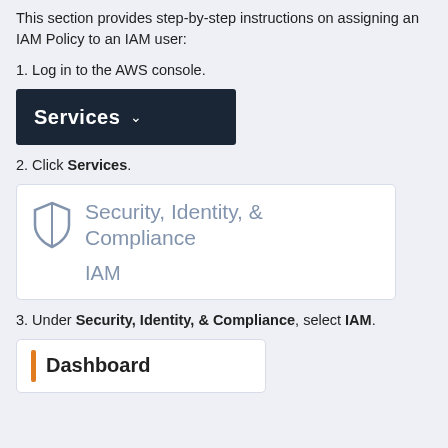This section provides step-by-step instructions on assigning an IAM Policy to an IAM user:
1. Log in to the AWS console.
[Figure (screenshot): AWS console navigation bar showing 'Services' button with dropdown chevron on dark navy background]
2. Click Services.
[Figure (screenshot): AWS Services panel showing 'Security, Identity, & Compliance' category with shield icon and 'IAM' link below]
3. Under Security, Identity, & Compliance, select IAM.
[Figure (screenshot): AWS IAM Dashboard panel showing orange bar and 'Dashboard' heading]